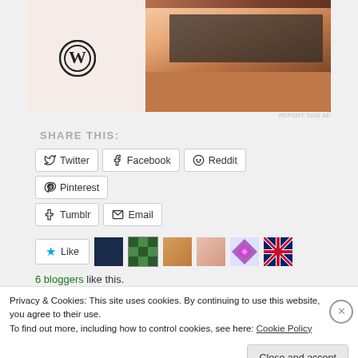[Figure (screenshot): WordPress logo and laptop photo advertisement]
REPORT THIS AD
SHARE THIS:
[Figure (screenshot): Social share buttons: Twitter, Facebook, Reddit, Pinterest, Tumblr, Email]
[Figure (screenshot): Like button with star icon and 6 blogger avatars]
6 bloggers like this.
[Figure (screenshot): Dark teal and navy banner bar at bottom]
Privacy & Cookies: This site uses cookies. By continuing to use this website, you agree to their use.
To find out more, including how to control cookies, see here: Cookie Policy
Close and accept